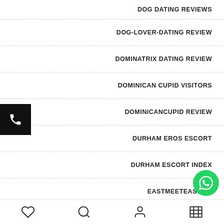DOG DATING REVIEWS
DOG-LOVER-DATING REVIEW
DOMINATRIX DATING REVIEW
DOMINICAN CUPID VISITORS
DOMINICANCUPID REVIEW
DURHAM EROS ESCORT
DURHAM ESCORT INDEX
EASTMEETEAST AP
heart icon, search icon, user icon, shop icon